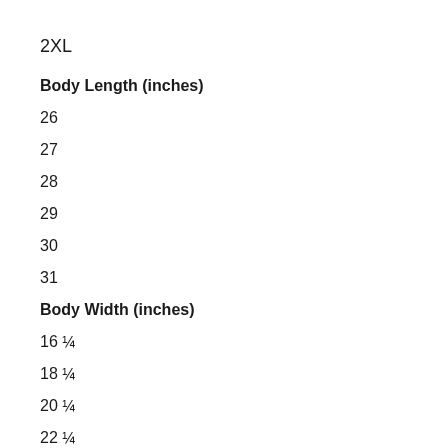2XL
Body Length (inches)
26
27
28
29
30
31
Body Width (inches)
16 ¼
18 ¼
20 ¼
22 ¼